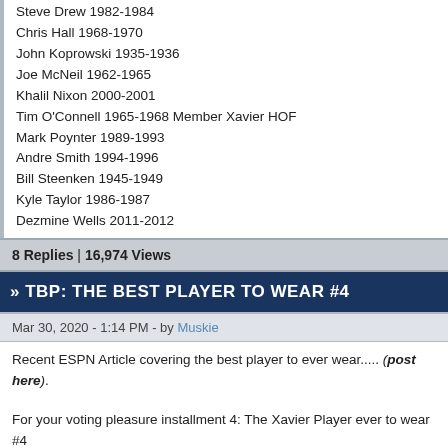Steve Drew 1982-1984
Chris Hall 1968-1970
John Koprowski 1935-1936
Joe McNeil 1962-1965
Khalil Nixon 2000-2001
Tim O'Connell 1965-1968 Member Xavier HOF
Mark Poynter 1989-1993
Andre Smith 1994-1996
Bill Steenken 1945-1949
Kyle Taylor 1986-1987
Dezmine Wells 2011-2012
8 Replies | 16,974 Views
» TBP: THE BEST PLAYER TO WEAR #4
Mar 30, 2020 - 1:14 PM - by Muskie
Recent ESPN Article covering the best player to ever wear..... (post here).
For your voting pleasure installment 4: The Xavier Player ever to wear #4
Charles Bronson 2007-2008
Lenny Brown 1995-1999
Ducky Castelle 1959-1960
James Coleman 1932-1933